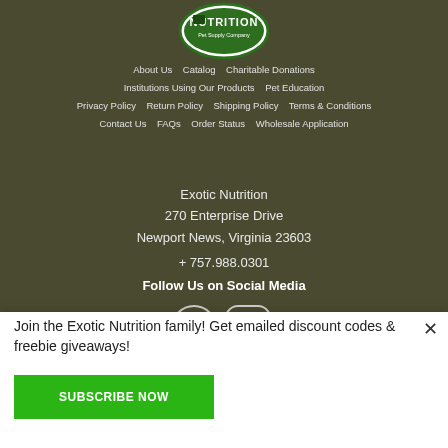[Figure (logo): Exotic Nutrition Pet Supply Company logo - green oval with white text]
About Us  Catalog  Charitable Donations
Institutions Using Our Products  Pet Education
Privacy Policy  Return Policy  Shipping Policy  Terms & Conditions
Contact Us  FAQs  Order Status  Wholesale Application
Exotic Nutrition
270 Enterprise Drive
Newport News, Virginia 23603
+ 757.988.0301
Follow Us on Social Media
[Figure (illustration): Facebook and Instagram social media icons in white]
Join the Exotic Nutrition family! Get emailed discount codes & freebie giveaways!
SUBSCRIBE NOW